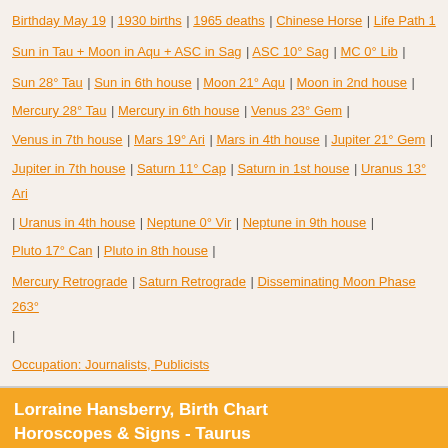Birthday May 19 | 1930 births | 1965 deaths | Chinese Horse | Life Path 1
Sun in Tau + Moon in Aqu + ASC in Sag | ASC 10° Sag | MC 0° Lib |
Sun 28° Tau | Sun in 6th house | Moon 21° Aqu | Moon in 2nd house | Mercury 28° Tau | Mercury in 6th house | Venus 23° Gem | Venus in 7th house | Mars 19° Ari | Mars in 4th house | Jupiter 21° Gem | Jupiter in 7th house | Saturn 11° Cap | Saturn in 1st house | Uranus 13° Ari | Uranus in 4th house | Neptune 0° Vir | Neptune in 9th house | Pluto 17° Can | Pluto in 8th house |
Mercury Retrograde | Saturn Retrograde | Disseminating Moon Phase 263° |
Occupation: Journalists, Publicists
Lorraine Hansberry, Birth Chart Horoscopes & Signs - Taurus
ASTROLOGICAL SIGNS
Sun in Taurus
28°19'